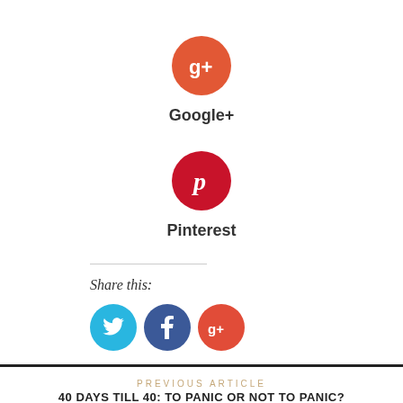[Figure (logo): Google+ social share button — orange-red circle with g+ icon]
Google+
[Figure (logo): Pinterest social share button — dark red circle with P icon]
Pinterest
Share this:
[Figure (logo): Share buttons row: Twitter (blue circle), Facebook (dark blue circle), Google+ (red circle)]
PREVIOUS ARTICLE
40 DAYS TILL 40: TO PANIC OR NOT TO PANIC? #40TILL40